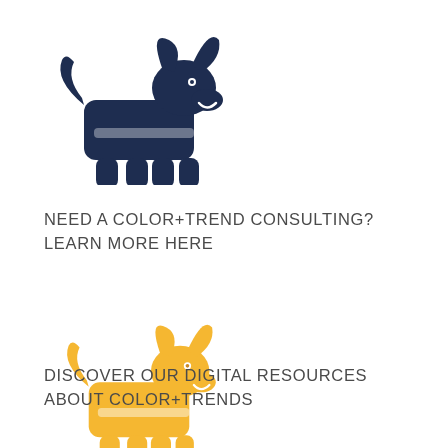[Figure (illustration): Dark navy blue dog icon/silhouette facing right]
NEED A COLOR+TREND CONSULTING? LEARN MORE HERE
[Figure (illustration): Golden yellow dog icon/silhouette facing right]
DISCOVER OUR DIGITAL RESOURCES ABOUT COLOR+TRENDS